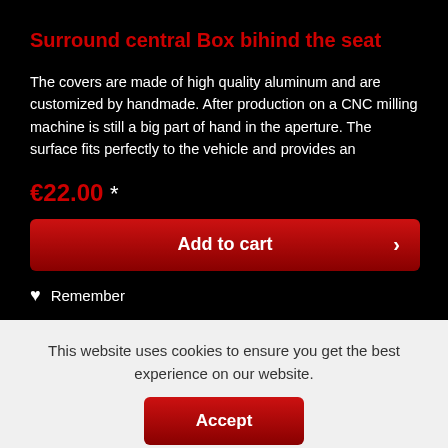Surround central Box bihind the seat
The covers are made of high quality aluminum and are customized by handmade. After production on a CNC milling machine is still a big part of hand in the aperture. The surface fits perfectly to the vehicle and provides an
€22.00 *
Add to cart
Remember
This website uses cookies to ensure you get the best experience on our website.
Accept